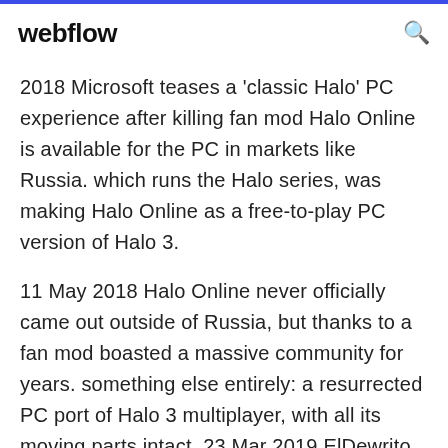webflow
2018 Microsoft teases a 'classic Halo' PC experience after killing fan mod Halo Online is available for the PC in markets like Russia. which runs the Halo series, was making Halo Online as a free-to-play PC version of Halo 3.
11 May 2018 Halo Online never officially came out outside of Russia, but thanks to a fan mod boasted a massive community for years. something else entirely: a resurrected PC port of Halo 3 multiplayer, with all its moving parts intact. 23 Mar 2019 ElDewritо, a hugely-impressive mod for Halo Online, the cancelled free PC game based on Halo 3 Microsoft built for the Russian market. lets. 17 Apr 2018 The